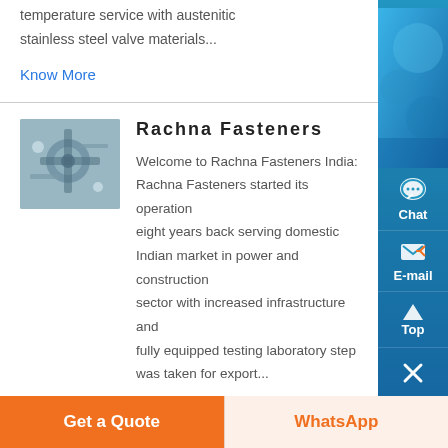temperature service with austenitic stainless steel valve materials...
Know More
Rachna Fasteners
[Figure (photo): Industrial equipment/fastener product image showing machinery components]
Welcome to Rachna Fasteners India: Rachna Fasteners started its operation eight years back serving domestic Indian market in power and construction sector with increased infrastructure and fully equipped testing laboratory step was taken for export...
Know More
Get a Quote
WhatsApp